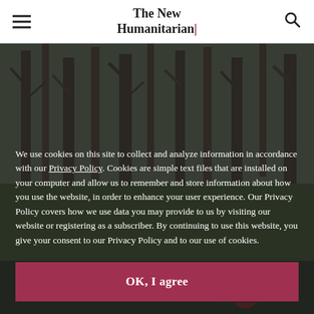The New Humanitarian
[Figure (photo): Bare dead trees and green foliage in a forest, with a partial view of a person at the bottom right]
We use cookies on this site to collect and analyze information in accordance with our Privacy Policy. Cookies are simple text files that are installed on your computer and allow us to remember and store information about how you use the website, in order to enhance your user experience. Our Privacy Policy covers how we use data you may provide to us by visiting our website or registering as a subscriber. By continuing to use this website, you give your consent to our Privacy Policy and to our use of cookies.
OK, I agree